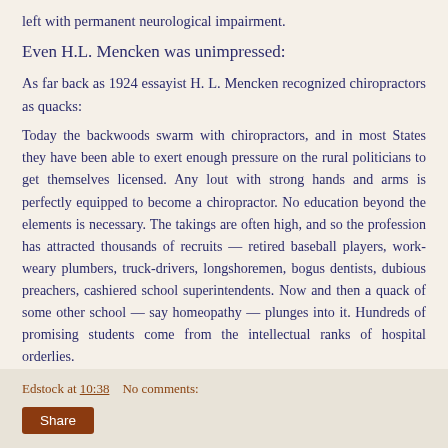left with permanent neurological impairment.
Even H.L. Mencken was unimpressed:
As far back as 1924 essayist H. L. Mencken recognized chiropractors as quacks:
Today the backwoods swarm with chiropractors, and in most States they have been able to exert enough pressure on the rural politicians to get themselves licensed. Any lout with strong hands and arms is perfectly equipped to become a chiropractor. No education beyond the elements is necessary. The takings are often high, and so the profession has attracted thousands of recruits — retired baseball players, work-weary plumbers, truck-drivers, longshoremen, bogus dentists, dubious preachers, cashiered school superintendents. Now and then a quack of some other school — say homeopathy — plunges into it. Hundreds of promising students come from the intellectual ranks of hospital orderlies.
Edstock at 10:38    No comments: